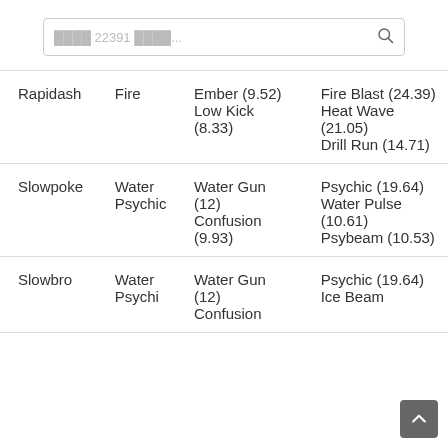22391
| Pokemon | Type | Fast Moves | Charge Moves |
| --- | --- | --- | --- |
| Rapidash | Fire | Ember (9.52)
Low Kick (8.33) | Fire Blast (24.39)
Heat Wave (21.05)
Drill Run (14.71) |
| Slowpoke | Water Psychic | Water Gun (12)
Confusion (9.93) | Psychic (19.64)
Water Pulse (10.61)
Psybeam (10.53) |
| Slowbro | Water Psychi | Water Gun (12)
Confusion | Psychic (19.64)
Ice Beam |